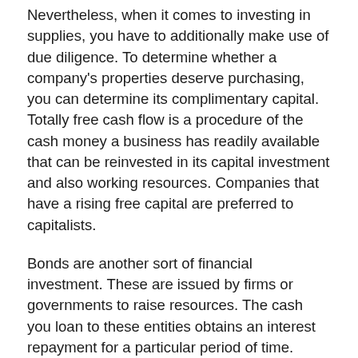Nevertheless, when it comes to investing in supplies, you have to additionally make use of due diligence. To determine whether a company's properties deserve purchasing, you can determine its complimentary capital. Totally free cash flow is a procedure of the cash money a business has readily available that can be reinvested in its capital investment and also working resources. Companies that have a rising free capital are preferred to capitalists.
Bonds are another sort of financial investment. These are issued by firms or governments to raise resources. The cash you loan to these entities obtains an interest repayment for a particular period of time. While bonds are safer than supplies, their